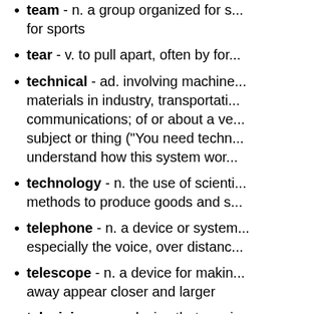teach - v. to show how to do something; to give knowledge; to cause to understand
team - n. a group organized for some purpose, especially for sports
tear - v. to pull apart, often by force
technical - ad. involving machines, materials in industry, transportation, and communications; of or about a very specific subject or thing ("You need technical knowledge to understand how this system works.")
technology - n. the use of scientific methods to produce goods and services
telephone - n. a device or system for carrying, especially the voice, over distances
telescope - n. a device for making things far away appear closer and larger
television - n. a device that receives